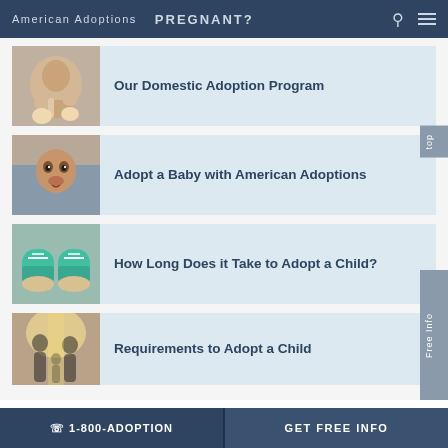American Adoptions  PREGNANT?
Our Domestic Adoption Program
Adopt a Baby with American Adoptions
How Long Does it Take to Adopt a Child?
Requirements to Adopt a Child
☎ 1-800-ADOPTION  GET FREE INFO